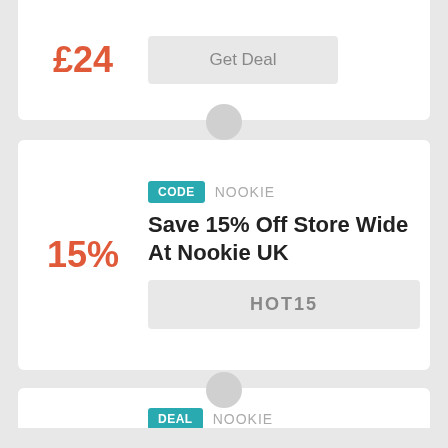£24
Get Deal
CODE  NOOKIE
Save 15% Off Store Wide At Nookie UK
15%
HOT15
DEAL  NOOKIE
Hoodies From £54.95
£54
Get Deal